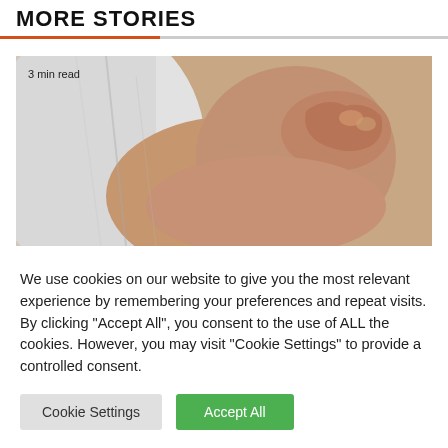MORE STORIES
[Figure (photo): Close-up photo of a person in a white shirt scratching their arm/skin, medical/dermatology context. Text overlay: '3 min read']
We use cookies on our website to give you the most relevant experience by remembering your preferences and repeat visits. By clicking "Accept All", you consent to the use of ALL the cookies. However, you may visit "Cookie Settings" to provide a controlled consent.
Cookie Settings | Accept All